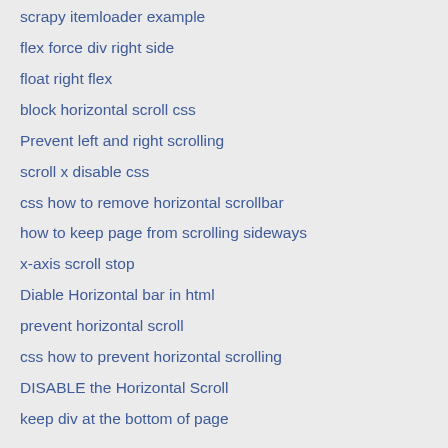scrapy itemloader example
flex force div right side
float right flex
block horizontal scroll css
Prevent left and right scrolling
scroll x disable css
css how to remove horizontal scrollbar
how to keep page from scrolling sideways
x-axis scroll stop
Diable Horizontal bar in html
prevent horizontal scroll
css how to prevent horizontal scrolling
DISABLE the Horizontal Scroll
keep div at the bottom of page